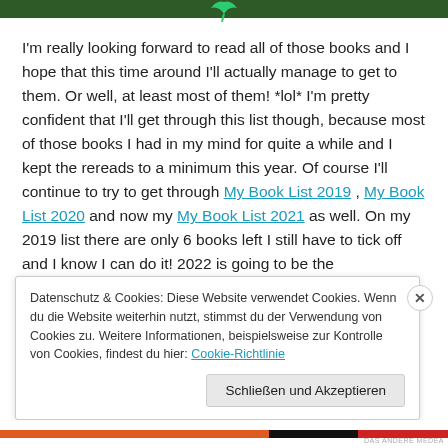[Figure (logo): Green leaf logo at the top of the page]
I'm really looking forward to read all of those books and I hope that this time around I'll actually manage to get to them. Or well, at least most of them! *lol* I'm pretty confident that I'll get through this list though, because most of those books I had in my mind for quite a while and I kept the rereads to a minimum this year. Of course I'll continue to try to get through My Book List 2019 , My Book List 2020 and now my My Book List 2021 as well. On my 2019 list there are only 6 books left I still have to tick off and I know I can do it! 2022 is going to be the
Datenschutz & Cookies: Diese Website verwendet Cookies. Wenn du die Website weiterhin nutzt, stimmst du der Verwendung von Cookies zu. Weitere Informationen, beispielsweise zur Kontrolle von Cookies, findest du hier: Cookie-Richtlinie
Schließen und Akzeptieren